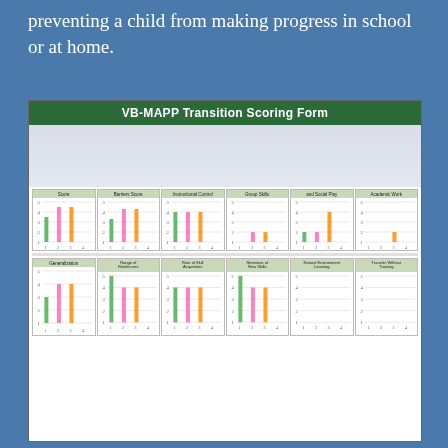preventing a child from making progress in school or at home.
[Figure (photo): Photo of the VB-MAPP Transition Scoring Form showing two rows of 6 grouped bar charts each. Top row charts labeled: Score, Barriers Score, Instructional Control, Group Skills, and Social Play, Academic Work. Bottom row: Generalization, Range of Reinforcers, Rate of Skill Acquisition, Retention of New Skills, Natural Environment Learning, Transfer Without Training. Each chart has bars in green, pink, and orange colors with y-axis 1-5 and x-axis 1-4.]